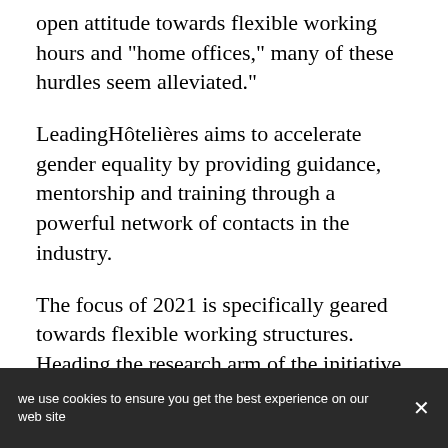open attitude towards flexible working hours and "home offices," many of these hurdles seem alleviated."
LeadingHôtelières aims to accelerate gender equality by providing guidance, mentorship and training through a powerful network of contacts in the industry.
The focus of 2021 is specifically geared towards flexible working structures. Heading the research arm of the initiative, Prof Dr Kim said: "We are currently working on a framework to test whether the outcome of our goal, to improve gender
we use cookies to ensure you get the best experience on our web site ×